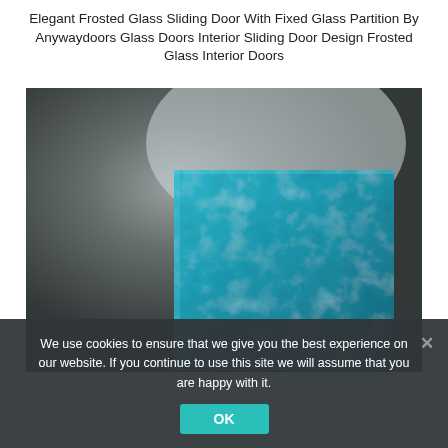Elegant Frosted Glass Sliding Door With Fixed Glass Partition By Anywaydoors Glass Doors Interior Sliding Door Design Frosted Glass Interior Doors
[Figure (photo): Photo of an elegant frosted/teal glass sliding door panel against a dark grey gradient background. The glass panel is a deep teal/turquoise color with frosted texture patterns visible.]
We use cookies to ensure that we give you the best experience on our website. If you continue to use this site we will assume that you are happy with it.